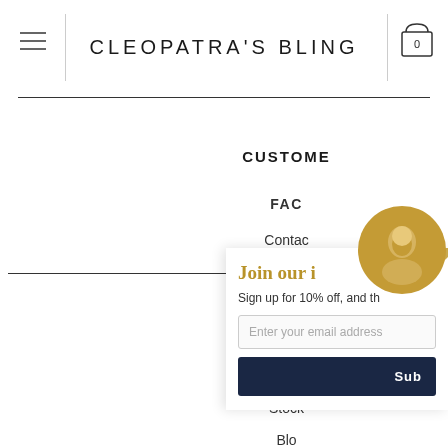CLEOPATRA'S BLING
CUSTOME
FAC
Contac
COMP
Our St
Lookbo
Stock
Blo
Join our i
Sign up for 10% off, and th
Enter your email address
Sub